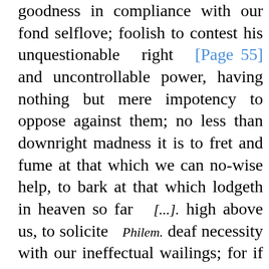goodness in compliance with our fond selflove; foolish to contest his unquestionable right [Page 55] and uncontrollable power, having nothing but mere impotency to oppose against them; no less than downright madness it is to fret and fume at that which we can no-wise help, to bark at that which lodgeth in heaven so far [...]. high above us, to solicite Philem. deaf necessity with our ineffectual wailings; for if we think, that our displeasure will affect God, that our complaints will incline him to alter our condition, or comply with our wishes, we do conceit vainly, and without any ground; sooner may we, by our imagination, stop the tides of the Sea, or turn the streams of Rivers